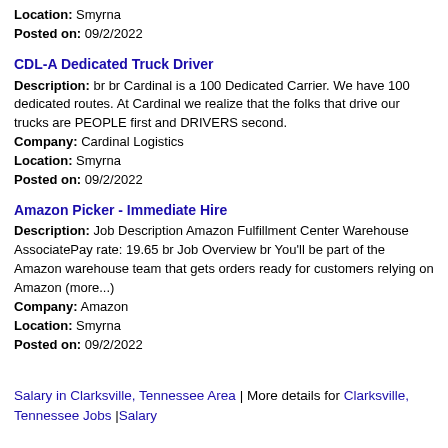Location: Smyrna
Posted on: 09/2/2022
CDL-A Dedicated Truck Driver
Description: br br Cardinal is a 100 Dedicated Carrier. We have 100 dedicated routes. At Cardinal we realize that the folks that drive our trucks are PEOPLE first and DRIVERS second.
Company: Cardinal Logistics
Location: Smyrna
Posted on: 09/2/2022
Amazon Picker - Immediate Hire
Description: Job Description Amazon Fulfillment Center Warehouse AssociatePay rate: 19.65 br Job Overview br You'll be part of the Amazon warehouse team that gets orders ready for customers relying on Amazon (more...)
Company: Amazon
Location: Smyrna
Posted on: 09/2/2022
Salary in Clarksville, Tennessee Area | More details for Clarksville, Tennessee Jobs |Salary